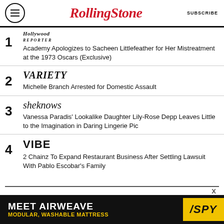Rolling Stone — SUBSCRIBE
1 Hollywood Reporter — Academy Apologizes to Sacheen Littlefeather for Her Mistreatment at the 1973 Oscars (Exclusive)
2 Variety — Michelle Branch Arrested for Domestic Assault
3 SheKnows — Vanessa Paradis' Lookalike Daughter Lily-Rose Depp Leaves Little to the Imagination in Daring Lingerie Pic
4 VIBE — 2 Chainz To Expand Restaurant Business After Settling Lawsuit With Pablo Escobar's Family
[Figure (infographic): Advertisement banner: MEET AIRWEAVE / MODULAR, WASHABLE MATTRESS with SPY logo in yellow on black background]